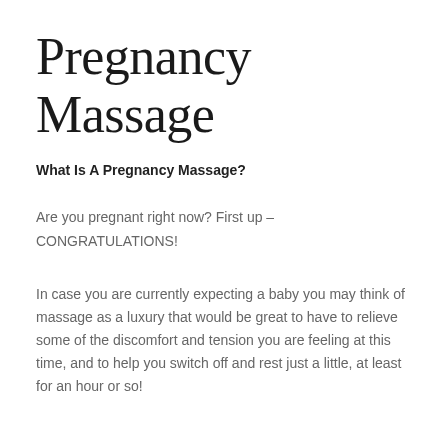Pregnancy Massage
What Is A Pregnancy Massage?
Are you pregnant right now? First up – CONGRATULATIONS!
In case you are currently expecting a baby you may think of massage as a luxury that would be great to have to relieve some of the discomfort and tension you are feeling at this time, and to help you switch off and rest just a little, at least for an hour or so!